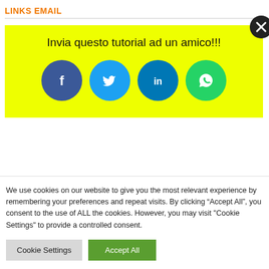LINKS EMAIL
LINKS SMARTPHONE
LINKS TELEFONIA
LINKS DIRITTO
[Figure (infographic): Yellow popup with text 'Invia questo tutorial ad un amico!!!' and four social media icons (Facebook, Twitter, LinkedIn, WhatsApp) and a close button (X)]
We use cookies on our website to give you the most relevant experience by remembering your preferences and repeat visits. By clicking “Accept All”, you consent to the use of ALL the cookies. However, you may visit "Cookie Settings" to provide a controlled consent.